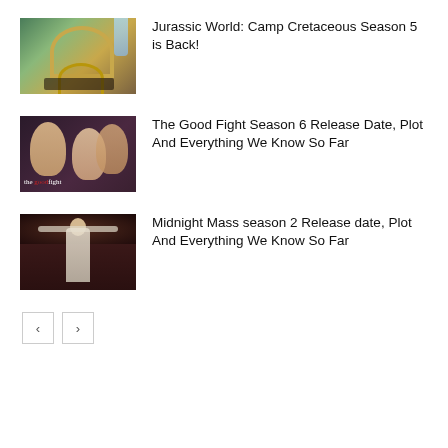[Figure (illustration): Jurassic World: Camp Cretaceous promotional image showing a park gate archway with waterfall, trees, and silhouetted figures]
Jurassic World: Camp Cretaceous Season 5 is Back!
[Figure (illustration): The Good Fight promotional image showing three women's faces against a dark background with the show's logo]
The Good Fight Season 6 Release Date, Plot And Everything We Know So Far
[Figure (illustration): Midnight Mass promotional image showing a priest-like figure with arms raised in a dark cave setting]
Midnight Mass season 2 Release date, Plot And Everything We Know So Far